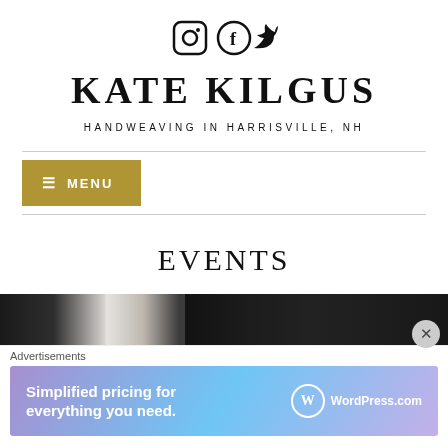[Figure (other): Social media icons: Instagram, Facebook, Twitter]
KATE KILGUS
HANDWEAVING IN HARRISVILLE, NH
≡ MENU
EVENTS
[Figure (photo): Dark curtain/stage background photo strip]
Advertisements
[Figure (screenshot): WordPress.com advertisement: Simplified pricing for everything you need.]